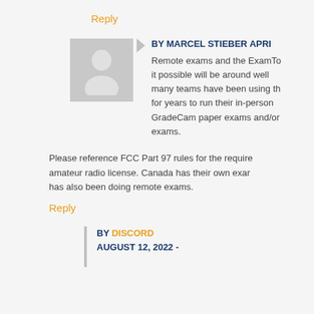Reply
BY MARCEL STIEBER APRI...
Remote exams and the ExamTo... it possible will be around well... many teams have been using th... for years to run their in-person... GradeCam paper exams and/or... exams.
Please reference FCC Part 97 rules for the require... amateur radio license. Canada has their own exa... has also been doing remote exams.
Reply
BY DISCORD AUGUST 12, 2022 -